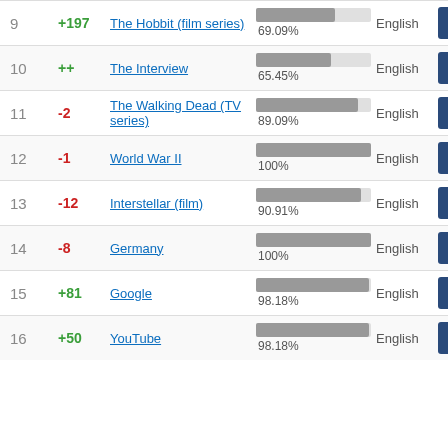| # | Change | Title | Quality | Language | Image |
| --- | --- | --- | --- | --- | --- |
| 9 | +197 | The Hobbit (film series) | 69.09% | English |  |
| 10 | ++ | The Interview | 65.45% | English |  |
| 11 | -2 | The Walking Dead (TV series) | 89.09% | English |  |
| 12 | -1 | World War II | 100% | English |  |
| 13 | -12 | Interstellar (film) | 90.91% | English |  |
| 14 | -8 | Germany | 100% | English |  |
| 15 | +81 | Google | 98.18% | English |  |
| 16 | +50 | YouTube | 98.18% | English |  |